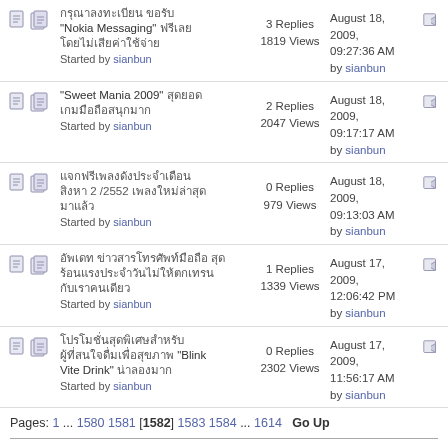Nokia Messaging - 3 Replies, 1819 Views, August 18, 2009, 09:27:36 AM by sianbun
Sweet Mania 2009 - 2 Replies, 2047 Views, August 18, 2009, 09:17:17 AM by sianbun
2 /2552 - 0 Replies, 979 Views, August 18, 2009, 09:13:03 AM by sianbun
1 Replies, 1339 Views, August 17, 2009, 12:06:42 PM by sianbun
Blink Vite Drink - 0 Replies, 2302 Views, August 17, 2009, 11:56:17 AM by sianbun
Pages: 1 ... 1580 1581 [1582] 1583 1584 ... 1614   Go Up
enjoyjam.net » news & activity » news & activity (Moderators: happy, sianbun)